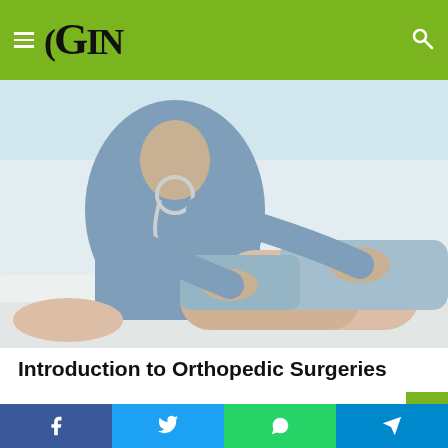GIN (logo/navigation header)
[Figure (photo): A medical professional in blue scrubs with a stethoscope examining a patient's leg/knee on a white examination table. The doctor's hands are supporting the patient's lower leg.]
Introduction to Orthopedic Surgeries
Orthopedic surgery is a medical specialty that focuses on the musculoskeletal system.
Social share bar: Facebook, Twitter, WhatsApp, Telegram